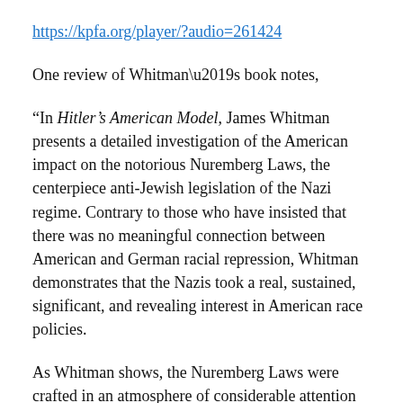https://kpfa.org/player/?audio=261424
One review of Whitman’s book notes,
“In Hitler’s American Model, James Whitman presents a detailed investigation of the American impact on the notorious Nuremberg Laws, the centerpiece anti-Jewish legislation of the Nazi regime. Contrary to those who have insisted that there was no meaningful connection between American and German racial repression, Whitman demonstrates that the Nazis took a real, sustained, significant, and revealing interest in American race policies.
As Whitman shows, the Nuremberg Laws were crafted in an atmosphere of considerable attention to the precedents American race laws had to offer. German praise for American practices, already found in Hitler’s Mein Kampf, was continuous throughout the early